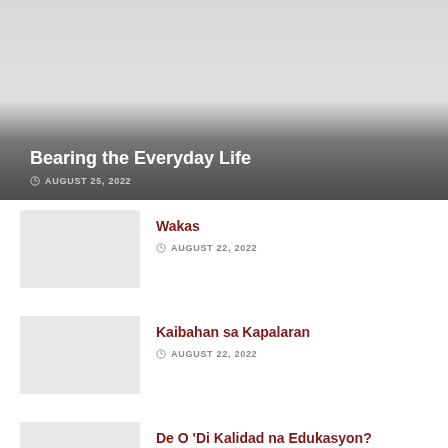[Figure (photo): Hero image with dark gradient overlay showing article title area]
Bearing the Everyday Life
AUGUST 25, 2022
[Figure (photo): Thumbnail image placeholder for Wakas article]
Wakas
AUGUST 22, 2022
[Figure (photo): Thumbnail image placeholder for Kaibahan sa Kapalaran article]
Kaibahan sa Kapalaran
AUGUST 22, 2022
[Figure (photo): Thumbnail image placeholder for De O 'Di Kalidad na Edukasyon? article]
De O 'Di Kalidad na Edukasyon?
AUGUST 21, 2022